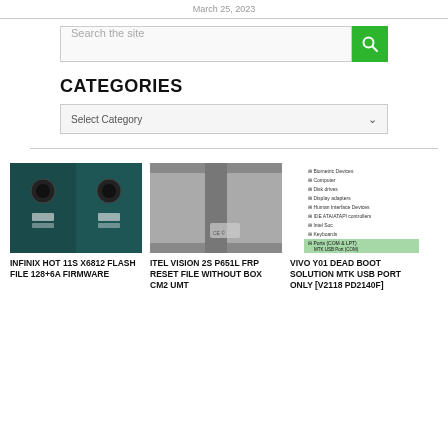March 25, 2023
Search the site
CATEGORIES
Select Category
[Figure (photo): Back of Infinix Hot 11S X6812 smartphone showing dual cameras]
INFINIX HOT 11S X6812 FLASH FILE 128+6A FIRMWARE
[Figure (photo): Close-up of a metal surface with CE mark sticker]
ITEL VISION 2S P651L FRP RESET FILE WITHOUT BOX CM2 UMT
[Figure (screenshot): Windows Device Manager showing Ports (COM & LPT) section with MTK USB Port highlighted in green]
VIVO Y01 DEAD BOOT SOLUTION MTK USB PORT ONLY [V2118 PD2140F]